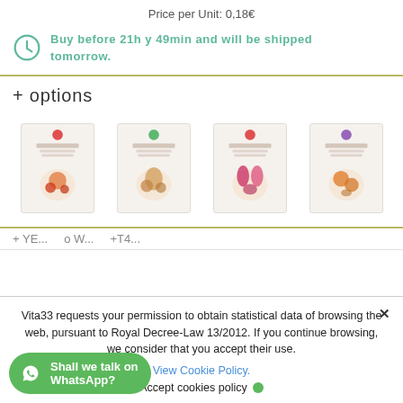Price per Unit: 0,18€
Buy before 21h y 49min and will be shipped tomorrow.
+ options
[Figure (photo): Four product seed packet boxes displayed in a row]
Vita33 requests your permission to obtain statistical data of browsing the web, pursuant to Royal Decree-Law 13/2012. If you continue browsing, we consider that you accept their use.
View Cookie Policy.
Accept cookies policy